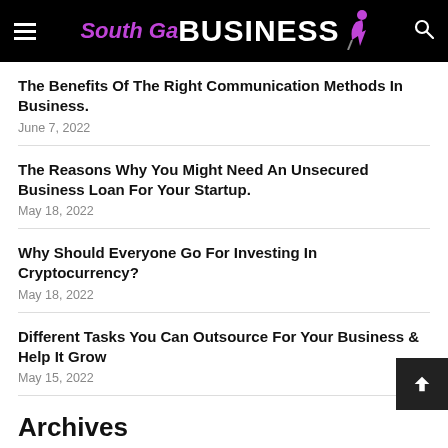South Ga BUSINESS
The Benefits Of The Right Communication Methods In Business.
June 7, 2022
The Reasons Why You Might Need An Unsecured Business Loan For Your Startup.
May 18, 2022
Why Should Everyone Go For Investing In Cryptocurrency?
May 18, 2022
Different Tasks You Can Outsource For Your Business & Help It Grow
May 15, 2022
Archives
August 2022